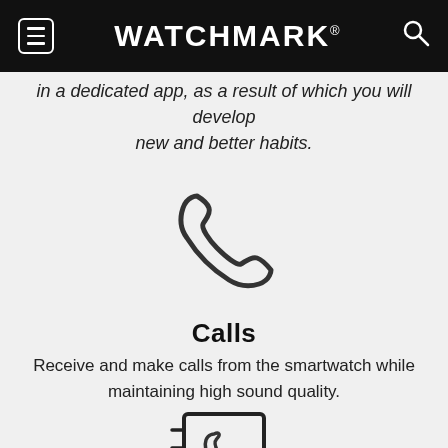WATCHMARK®
in a dedicated app, as a result of which you will develop new and better habits.
[Figure (illustration): Phone handset icon, outline style, dark gray]
Calls
Receive and make calls from the smartwatch while maintaining high sound quality.
[Figure (illustration): Contact book with phone icon, outline style, partially visible at bottom]